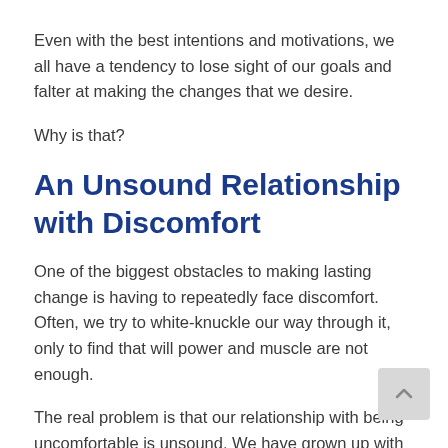Even with the best intentions and motivations, we all have a tendency to lose sight of our goals and falter at making the changes that we desire.
Why is that?
An Unsound Relationship with Discomfort
One of the biggest obstacles to making lasting change is having to repeatedly face discomfort. Often, we try to white-knuckle our way through it, only to find that will power and muscle are not enough.
The real problem is that our relationship with being uncomfortable is unsound. We have grown up with the notion that discomfort is something